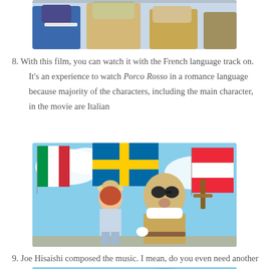[Figure (illustration): Top portion of an anime scene showing characters from Porco Rosso, cropped at top of page]
8. With this film, you can watch it with the French language track on. It's an experience to watch Porco Rosso in a romance language because majority of the characters, including the main character, in the movie are Italian
[Figure (illustration): Anime scene from Porco Rosso showing a young woman in a hat and a large pig-man character standing in front of colorful flags including Italian flag, with blue sky and clouds in background]
9. Joe Hisaishi composed the music. I mean, do you even need another reason?
[Figure (illustration): Bottom portion of anime scene showing sky with clouds, partially visible at bottom of page]